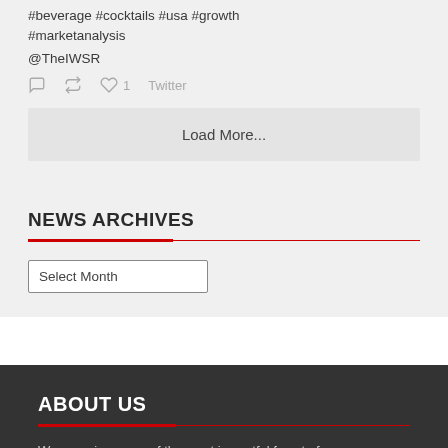#beverage #cocktails #usa #growth #marketanalysis
@TheIWSR
Twitter
Load More...
NEWS ARCHIVES
Select Month
ABOUT US
We organise some of the most impactful face to face